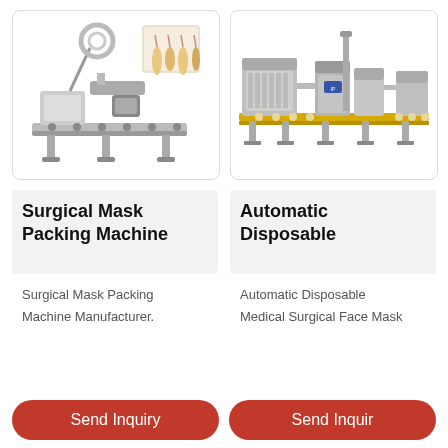[Figure (photo): Surgical Mask Packing Machine - industrial labeling/packing machine with conveyor belt, spool arm, control panel, and a small inset photo of packaged products]
[Figure (photo): Automatic Disposable Medical Surgical Face Mask machine - large industrial production line with multiple stations and yellow conveyor rails]
Surgical Mask Packing Machine
Automatic Disposable
Surgical Mask Packing Machine Manufacturer.
Automatic Disposable Medical Surgical Face Mask
Send Inquiry
Send Inquiry